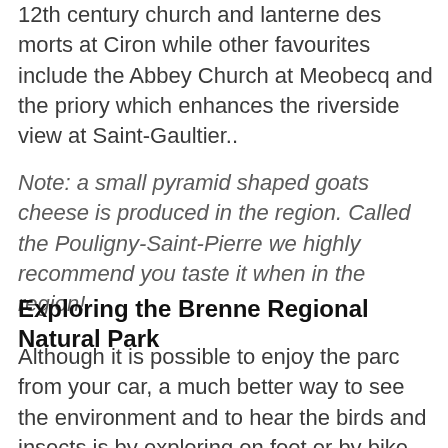12th century church and lanterne des morts at Ciron while other favourites include the Abbey Church at Meobecq and the priory which enhances the riverside view at Saint-Gaultier..
Note: a small pyramid shaped goats cheese is produced in the region. Called the Pouligny-Saint-Pierre we highly recommend you taste it when in the region!
Exploring the Brenne Regional Natural Park
Although it is possible to enjoy the parc from your car, a much better way to see the environment and to hear the birds and insects is by exploring on foot or by bike. The parc have